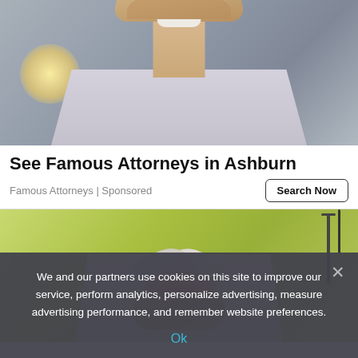[Figure (photo): Close-up photo of a smiling middle-aged man with stubble, wearing a light-colored shirt, photographed from chin to chest level]
See Famous Attorneys in Ashburn
Famous Attorneys | Sponsored
Search Now
[Figure (photo): Photo of a person in a medical/casual shirt holding their abdomen in pain, with a reddish highlight on the stomach area and a green blurred background]
We and our partners use cookies on this site to improve our service, perform analytics, personalize advertising, measure advertising performance, and remember website preferences.
Ok